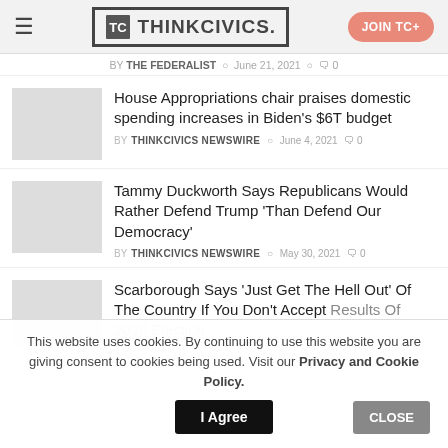THINKCIVICS.
BY THE FEDERALIST · June 21, 2021 · 0
House Appropriations chair praises domestic spending increases in Biden's $6T budget
BY THINKCIVICS NEWSWIRE · June 4, 2021 · 0
Tammy Duckworth Says Republicans Would Rather Defend Trump 'Than Defend Our Democracy'
BY THINKCIVICS NEWSWIRE · May 30, 2021 · 0
Scarborough Says 'Just Get The Hell Out' Of The Country If You Don't Accept Results Of 2020 Election
This website uses cookies. By continuing to use this website you are giving consent to cookies being used. Visit our Privacy and Cookie Policy.